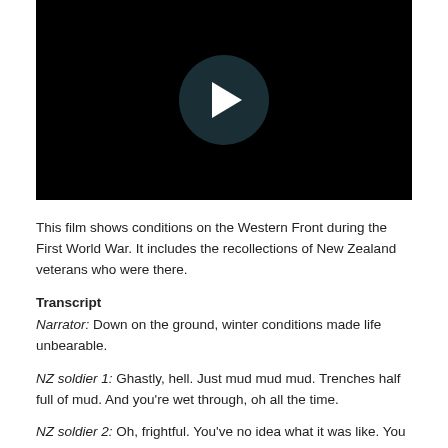[Figure (screenshot): Video player thumbnail showing a black background with a dark teal circular play button containing a white play triangle in the center.]
This film shows conditions on the Western Front during the First World War. It includes the recollections of New Zealand veterans who were there.
Transcript
Narrator: Down on the ground, winter conditions made life unbearable.
NZ soldier 1: Ghastly, hell. Just mud mud mud. Trenches half full of mud. And you're wet through, oh all the time.
NZ soldier 2: Oh, frightful. You've no idea what it was like. You lived in dugouts and you were well over your ankles and mud all the time. You had no protection, you just had a ground sheet over you